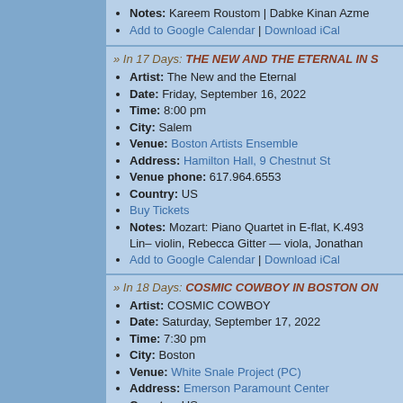Notes: Kareem Roustom | Dabke Kinan Azme
Add to Google Calendar | Download iCal
» In 17 Days: THE NEW AND THE ETERNAL IN S
Artist: The New and the Eternal
Date: Friday, September 16, 2022
Time: 8:00 pm
City: Salem
Venue: Boston Artists Ensemble
Address: Hamilton Hall, 9 Chestnut St
Venue phone: 617.964.6553
Country: US
Buy Tickets
Notes: Mozart: Piano Quartet in E-flat, K.493 Lin– violin, Rebecca Gitter — viola, Jonathan
Add to Google Calendar | Download iCal
» In 18 Days: COSMIC COWBOY IN BOSTON ON
Artist: COSMIC COWBOY
Date: Saturday, September 17, 2022
Time: 7:30 pm
City: Boston
Venue: White Snale Project (PC)
Address: Emerson Paramount Center
Country: US
Buy Tickets
Notes: A sci-fi opera exploring the mysteries o Ng Stage Directed by Sam Helfrich Juventas D
Add to Google Calendar | Download iCal
» In 18 Days: FEMALE TORCHBEARERS IN CAN
Artist: Female Torchbearers
Date: Saturday, September 17, 2022